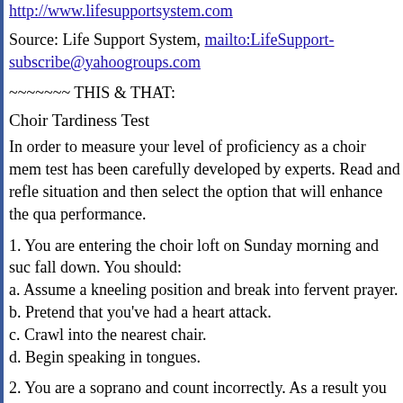http://www.lifesupportsystem.com
Source: Life Support System, mailto:LifeSupport-subscribe@yahoogroups.com
~~~~~~~ THIS & THAT:
Choir Tardiness Test
In order to measure your level of proficiency as a choir member, this test has been carefully developed by experts. Read and reflect on each situation and then select the option that will enhance the quality of your performance.
1. You are entering the choir loft on Sunday morning and suddenly fall down. You should:
a. Assume a kneeling position and break into fervent prayer.
b. Pretend that you've had a heart attack.
c. Crawl into the nearest chair.
d. Begin speaking in tongues.
2. You are a soprano and count incorrectly. As a result you begin "C" one measure too soon. You should:
a. Slide into an inspired "O For a Thousand Tongues to Sing"
b. Look triumphant and hold on to the note.
c. Stop abruptly in mid squawk but keep your lips moving.